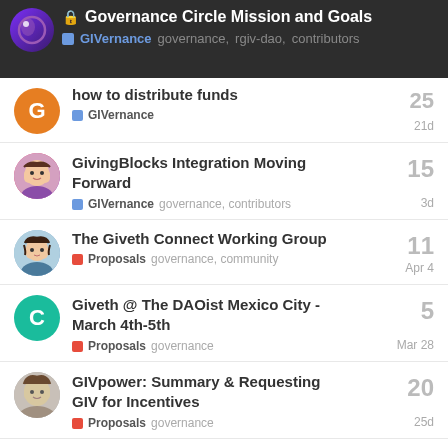🔒 Governance Circle Mission and Goals | GIVernance  governance, rgiv-dao, contributors
how to distribute funds
GIVernance  21d  15
GivingBlocks Integration Moving Forward
GIVernance  governance, contributors  3d  15
The Giveth Connect Working Group
Proposals  governance, community  Apr 4  11
Giveth @ The DAOist Mexico City - March 4th-5th
Proposals  governance  Mar 28  5
GIVpower: Summary & Requesting GIV for Incentives
Proposals  governance  25d  20